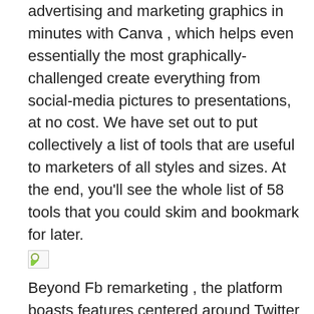advertising and marketing graphics in minutes with Canva , which helps even essentially the most graphically-challenged create everything from social-media pictures to presentations, at no cost. We have set out to put collectively a list of tools that are useful to marketers of all styles and sizes. At the end, you'll see the whole list of 58 tools that you could skim and bookmark for later.
[Figure (other): Broken/loading image placeholder icon]
Beyond Fb remarketing , the platform boasts features centered around Twitter adverts and Instagram development as nicely. A key element of digital marketing instruments is Web analytics, which provide information on an Web person's on-line actions, IP deal with and search key phrases. The record of instruments